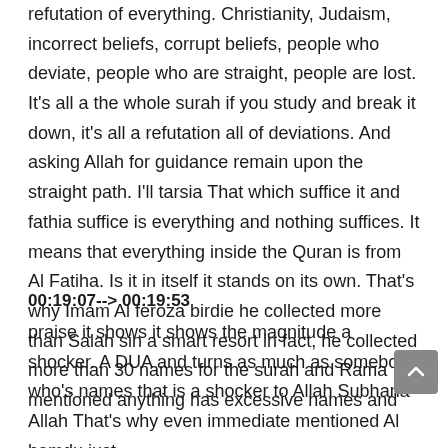refutation of everything. Christianity, Judaism, incorrect beliefs, corrupt beliefs, people who deviate, people who are straight, people are lost. It's all a the whole surah if you study and break it down, it's all a refutation all of deviations. And asking Allah for guidance remain upon the straight path. I'll tarsia That which suffice it and fathia suffice is everything and nothing suffices. It means that everything inside the Quran is from Al Fatiha. Is it in itself it stands on its own. That's why Imam Al feroza birdie he collected more than Salah sin a smart resort in fact, he collected more than 30 names for the surah and Rama mentioned anything has excessive names and
00:19:07--> 00:19:53
praise it shows it shows the magnitude a shocker. A DUA and turns as much as somebody who's names that is a shocker to Allah Subhana Allah That's why even immediate mentioned Al hamdu just